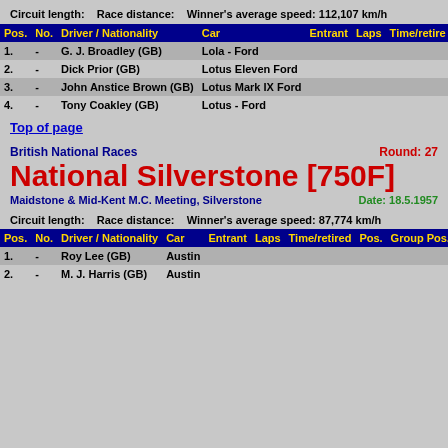Circuit length:    Race distance:    Winner's average speed: 112,107 km/h
| Pos. | No. | Driver / Nationality | Car | Entrant | Laps | Time/retire |
| --- | --- | --- | --- | --- | --- | --- |
| 1. | - | G. J. Broadley (GB) | Lola - Ford |  |  |  |
| 2. | - | Dick Prior (GB) | Lotus Eleven Ford |  |  |  |
| 3. | - | John Anstice Brown (GB) | Lotus Mark IX Ford |  |  |  |
| 4. | - | Tony Coakley (GB) | Lotus - Ford |  |  |  |
Top of page
British National Races
Round: 27
National Silverstone [750F]
Maidstone & Mid-Kent M.C. Meeting, Silverstone
Date: 18.5.1957
Circuit length:    Race distance:    Winner's average speed: 87,774 km/h
| Pos. | No. | Driver / Nationality | Car | Entrant | Laps | Time/retired | Pos. | Group Pos. | P |
| --- | --- | --- | --- | --- | --- | --- | --- | --- | --- |
| 1. | - | Roy Lee (GB) | Austin |  |  |  |  |  |  |
| 2. | - | M. J. Harris (GB) | Austin |  |  |  |  |  |  |